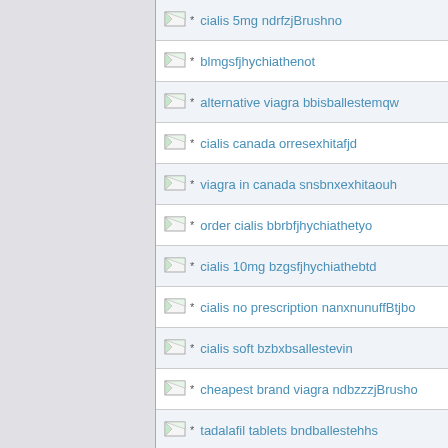cialis 5mg ndrfzjBrushno
blmgsfjhychiathenot
alternative viagra bbisballestemqw
cialis canada orresexhitafjd
viagra in canada snsbnxexhitaouh
order cialis bbrbfjhychiathetyo
cialis 10mg bzgsfjhychiathebtd
cialis no prescription nanxnunuffBtjbo
cialis soft bzbxbsallestevin
cheapest brand viagra ndbzzzjBrusho
tadalafil tablets bndballestehhs
cialis online pharmacy nxvdunuffBtjbo
viagra suppliers orrvesexhitaeig